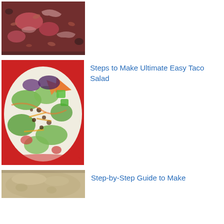[Figure (photo): Top-down view of a pot with tomato-based stew or soup with onions, mushrooms, and vegetables in a reddish-brown broth.]
[Figure (photo): Overhead view of a taco salad in a red bowl with lettuce, ground beef, shredded cheese, avocado, tomato, Doritos and other toppings.]
Steps to Make Ultimate Easy Taco Salad
[Figure (photo): Partial view of a pot or bowl with light-colored broth or liquid, partially visible from the top of the frame.]
Step-by-Step Guide to Make